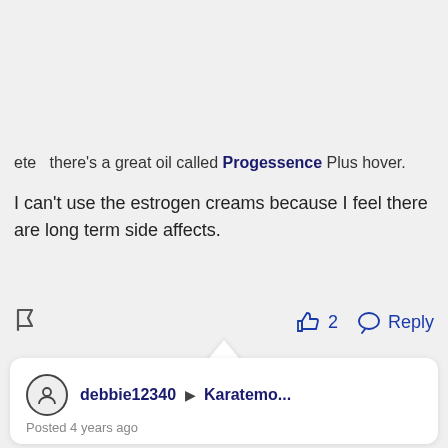AD
ete   there's a great oil called Progessence Plus hover.
I can't use the estrogen creams because I feel there are long term side affects.
👍 2   Reply
debbie12340 ▶ Karatemo...
Posted 4 years ago
Hi Audrey,
Would you possibly DM more details about what you use and how please ? xxx I'd be very grateful xxx